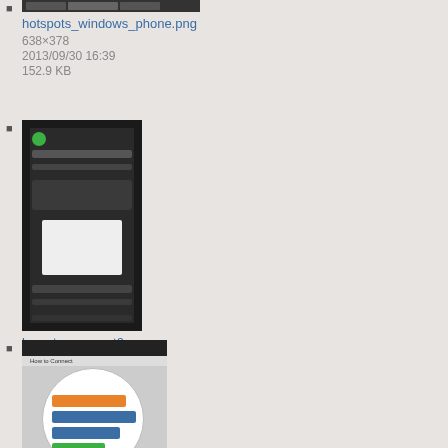[Figure (screenshot): Thumbnail of hotspots_windows_phone.png showing a dark Windows Phone interface with tabbed navigation]
hotspots_windows_phone.png
638×378
2013/09/30 16:39
152.9 KB
[Figure (screenshot): Thumbnail of how_to_connect0.png showing a dark mobile app screen with green circle icon and settings]
how_to_connect0.png
640×1136
2014/04/10 21:54
61.4 KB
[Figure (screenshot): Thumbnail of how_to_connect1.png showing a mobile screen with a circular menu and list items]
how_to_connect1.png
640×960
2014/04/25 17:12